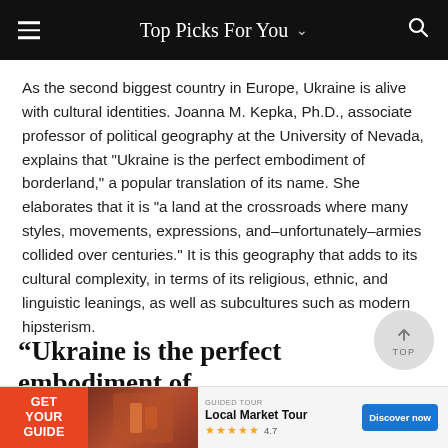Top Picks For You
As the second biggest country in Europe, Ukraine is alive with cultural identities. Joanna M. Kepka, Ph.D., associate professor of political geography at the University of Nevada, explains that "Ukraine is the perfect embodiment of borderland," a popular translation of its name. She elaborates that it is "a land at the crossroads where many styles, movements, expressions, and–unfortunately–armies collided over centuries." It is this geography that adds to its cultural complexity, in terms of its religious, ethnic, and linguistic leanings, as well as subcultures such as modern hipsterism.
“Ukraine is the perfect embodiment of
[Figure (infographic): Advertisement banner: Get Your Guide - Local Market Tour with star rating 4.7 and Discover now button]